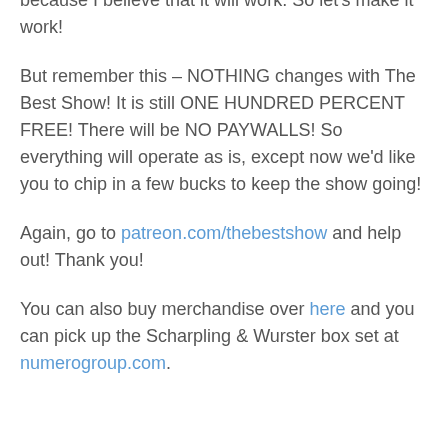support the show! Anything is appreciated if you can swing it and it all helps to keep the show going! With no ads, we are doing this with no safety net! If this doesn't work, I truly don't know what the future of the show can be. But I do this because I believe that it will work. So let's make it work!
But remember this – NOTHING changes with The Best Show! It is still ONE HUNDRED PERCENT FREE! There will be NO PAYWALLS! So everything will operate as is, except now we'd like you to chip in a few bucks to keep the show going!
Again, go to patreon.com/thebestshow and help out! Thank you!
You can also buy merchandise over here and you can pick up the Scharpling & Wurster box set at numerogroup.com.